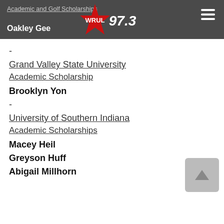Academic and Golf Scholarships | Oakley Gee | WRUL 97.3
-
Grand Valley State University
Academic Scholarship
Brooklyn Yon
-
University of Southern Indiana
Academic Scholarships
Macey Heil
Greyson Huff
Abigail Millhorn